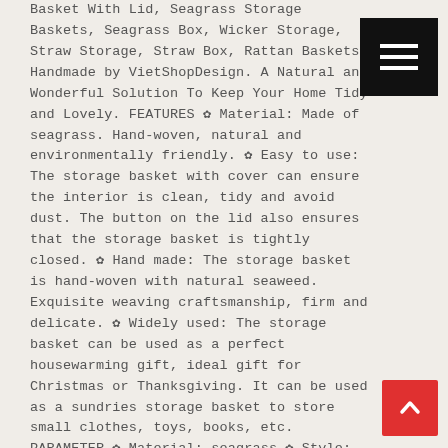Basket With Lid, Seagrass Storage Baskets, Seagrass Box, Wicker Storage, Straw Storage, Straw Box, Rattan Baskets Handmade by VietShopDesign. A Natural and Wonderful Solution To Keep Your Home Tidy and Lovely. FEATURES ✿ Material: Made of seagrass. Hand-woven, natural and environmentally friendly. ✿ Easy to use: The storage basket with cover can ensure the interior is clean, tidy and avoid dust. The button on the lid also ensures that the storage basket is tightly closed. ✿ Hand made: The storage basket is hand-woven with natural seaweed. Exquisite weaving craftsmanship, firm and delicate. ✿ Widely used: The storage basket can be used as a perfect housewarming gift, ideal gift for Christmas or Thanksgiving. It can be used as a sundries storage basket to store small clothes, toys, books, etc. PARAMETER ✿ Material: seagrass ✿ Style: With Lid/Without Lid ✿ Color & Size: As Picture Shown ✿ Package include: 01 pcs Seagrass Basket With Lid NOTE: ✿
[Figure (other): Black hamburger menu button with three white horizontal lines]
[Figure (other): Red scroll-to-top button with white upward chevron arrow]